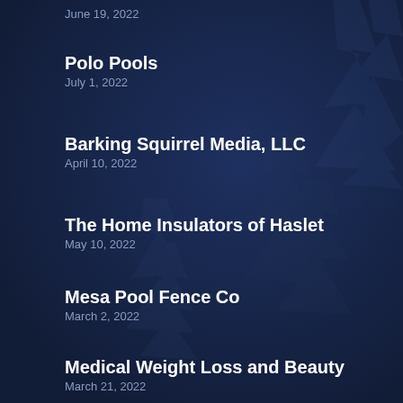June 19, 2022
Polo Pools
July 1, 2022
Barking Squirrel Media, LLC
April 10, 2022
The Home Insulators of Haslet
May 10, 2022
Mesa Pool Fence Co
March 2, 2022
Medical Weight Loss and Beauty
March 21, 2022